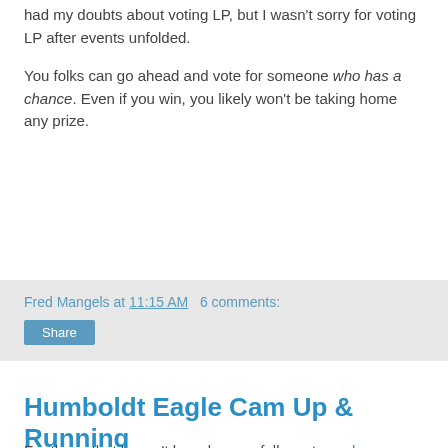had my doubts about voting LP, but I wasn't sorry for voting LP after events unfolded.
You folks can go ahead and vote for someone who has a chance. Even if you win, you likely won't be taking home any prize.
Fred Mangels at 11:15 AM   6 comments:
Share
Humboldt Eagle Cam Up & Running
For those that haven't heard, some folks put a web cam on an eagle's nest so we can watch them raise their young. I forget the exact location but it's somewhere near the bay. No eagles in the nest when I looked but one gal in the comments said she saw one. Pretty neat, but what's with the